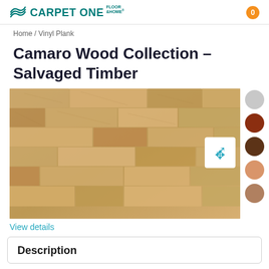CARPET ONE FLOOR & HOME
Home / Vinyl Plank
Camaro Wood Collection – Salvaged Timber
[Figure (photo): Vinyl plank flooring product image showing Salvaged Timber wood-look planks in warm tan/brown tones, arranged in a staggered pattern. A white zoom/move icon button is visible in the upper right of the image. Color swatches (gray, red-brown, dark brown, peach, tan) are shown to the right.]
View details
Description